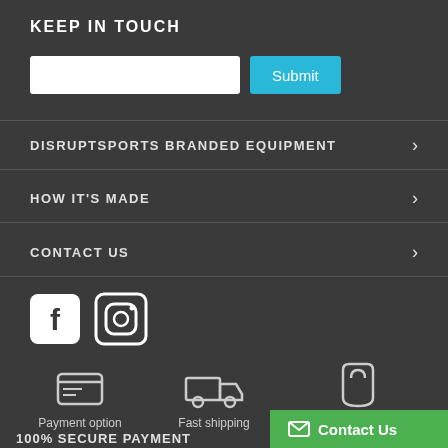KEEP IN TOUCH
[Figure (screenshot): Email input field and Submit button for newsletter signup]
DISRUPTSPORTS BRANDED EQUIPMENT
HOW IT'S MADE
CONTACT US
[Figure (illustration): Facebook and Instagram social media icons]
[Figure (infographic): Three icons: Payment option, Fast shipping, Secure Transaction]
Contact Us
100% SECURE PAYMENT